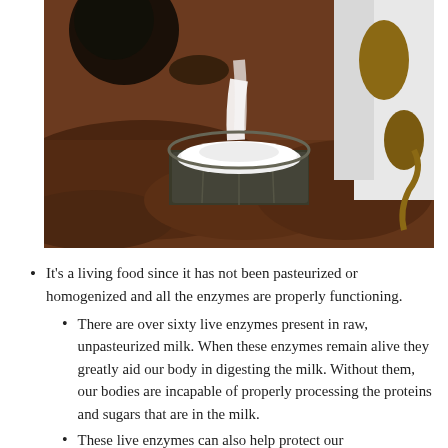[Figure (photo): Photo of milk being poured from a bucket near a cow, taken from above. The bucket contains white milk, and the background shows reddish-brown soil. Parts of a white cow and dark hooves are visible.]
It's a living food since it has not been pasteurized or homogenized and all the enzymes are properly functioning.
There are over sixty live enzymes present in raw, unpasteurized milk. When these enzymes remain alive they greatly aid our body in digesting the milk. Without them, our bodies are incapable of properly processing the proteins and sugars that are in the milk.
These live enzymes can also help protect our